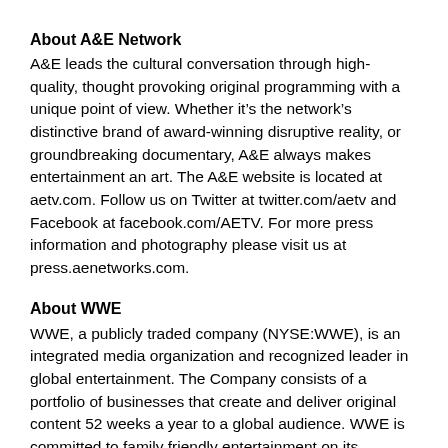About A&E Network
A&E leads the cultural conversation through high-quality, thought provoking original programming with a unique point of view. Whether it’s the network’s distinctive brand of award-winning disruptive reality, or groundbreaking documentary, A&E always makes entertainment an art. The A&E website is located at aetv.com. Follow us on Twitter at twitter.com/aetv and Facebook at facebook.com/AETV. For more press information and photography please visit us at press.aenetworks.com.
About WWE
WWE, a publicly traded company (NYSE:WWE), is an integrated media organization and recognized leader in global entertainment. The Company consists of a portfolio of businesses that create and deliver original content 52 weeks a year to a global audience. WWE is committed to family friendly entertainment on its television programming, pay-per-view, digital media and publishing platforms. WWE’s TV-PG, family-friendly programming can be seen in more than 800 million homes worldwide in 25 languages. WWE